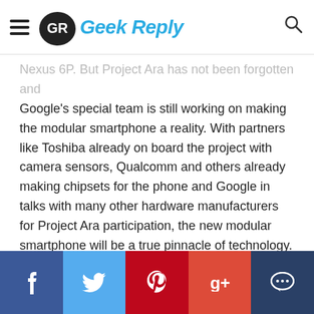Geek Reply
Nexus 6P. But Project Ara has not been forgotten and Google's special team is still working on making the modular smartphone a reality. With partners like Toshiba already on board the project with camera sensors, Qualcomm and others already making chipsets for the phone and Google in talks with many other hardware manufacturers for Project Ara participation, the new modular smartphone will be a true pinnacle of technology. And it will probably have a Force Touch input feature, similar to 3D Touch on the iPhone 6S and Force Touch on the Apple Watch. That's because Synaptics just announced that they're ready with the technology and smartphone manufacturers will be able to make good use of it next year.
Social share bar: Facebook, Twitter, Pinterest, Google+, Comment